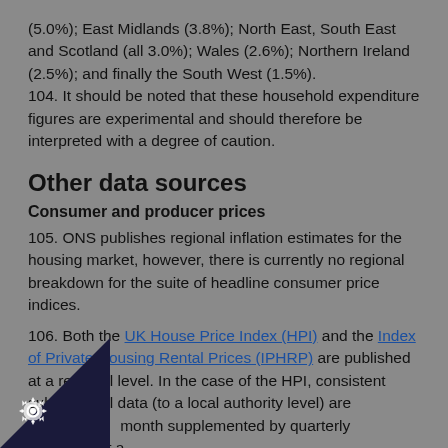(5.0%); East Midlands (3.8%); North East, South East and Scotland (all 3.0%); Wales (2.6%); Northern Ireland (2.5%); and finally the South West (1.5%). 104. It should be noted that these household expenditure figures are experimental and should therefore be interpreted with a degree of caution.
Other data sources
Consumer and producer prices
105. ONS publishes regional inflation estimates for the housing market, however, there is currently no regional breakdown for the suite of headline consumer price indices.
106. Both the UK House Price Index (HPI) and the Index of Private Housing Rental Prices (IPHRP) are published at a regional level. In the case of the HPI, consistent sub-regional data (to a local authority level) are published month supplemented by quarterly estimates at a